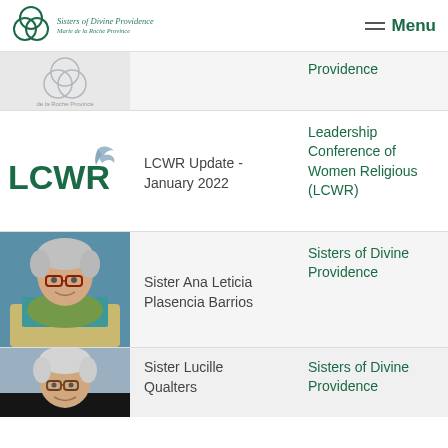Sisters of Divine Providence — Marie de la Roche Province | Menu
[Figure (logo): Sisters of Divine Providence Marie de la Roche Province circular logo with overlapping circles]
Providence
[Figure (logo): LCWR logo with stylized bird]
LCWR Update - January 2022
Leadership Conference of Women Religious (LCWR)
[Figure (photo): Photo of Sister Ana Leticia Plasencia Barrios, elderly woman with glasses and green scarf]
Sister Ana Leticia Plasencia Barrios
Sisters of Divine Providence
[Figure (photo): Photo of Sister Lucille Qualters, elderly woman with glasses]
Sister Lucille Qualters
Sisters of Divine Providence